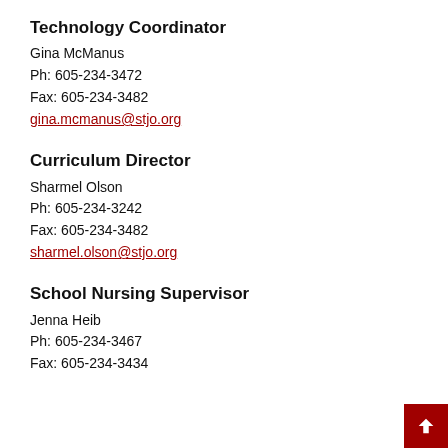Technology Coordinator
Gina McManus
Ph: 605-234-3472
Fax: 605-234-3482
gina.mcmanus@stjo.org
Curriculum Director
Sharmel Olson
Ph: 605-234-3242
Fax: 605-234-3482
sharmel.olson@stjo.org
School Nursing Supervisor
Jenna Heib
Ph: 605-234-3467
Fax: 605-234-3434